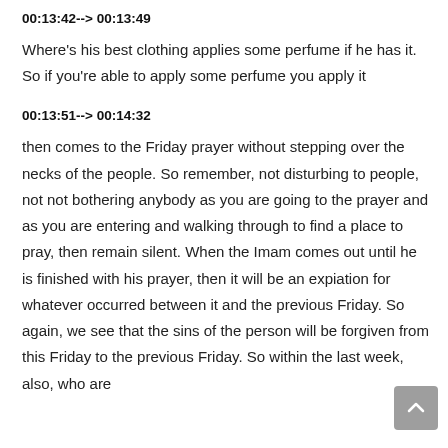00:13:42--> 00:13:49
Where's his best clothing applies some perfume if he has it. So if you're able to apply some perfume you apply it
00:13:51--> 00:14:32
then comes to the Friday prayer without stepping over the necks of the people. So remember, not disturbing to people, not not bothering anybody as you are going to the prayer and as you are entering and walking through to find a place to pray, then remain silent. When the Imam comes out until he is finished with his prayer, then it will be an expiation for whatever occurred between it and the previous Friday. So again, we see that the sins of the person will be forgiven from this Friday to the previous Friday. So within the last week, also, who are